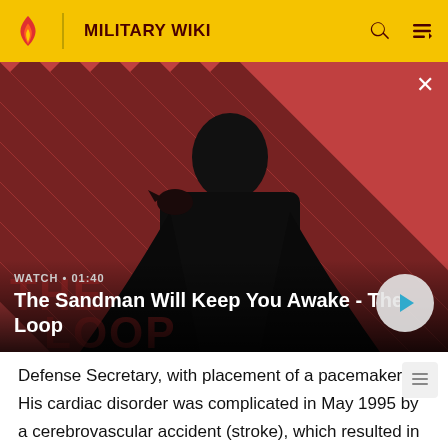MILITARY WIKI
[Figure (screenshot): Video thumbnail for 'The Sandman Will Keep You Awake - The Loop' showing a dark figure with a raven on shoulder against a red and black striped background. Label shows WATCH • 01:40 with a play button.]
Defense Secretary, with placement of a pacemaker. His cardiac disorder was complicated in May 1995 by a cerebrovascular accident (stroke), which resulted in Dr. Aspin's death on May 21, 1995 in Washington, D.C.. He was interred at Brookfield's Wisconsin Memorial Park